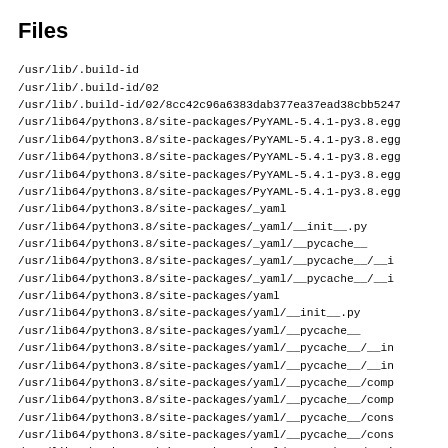Files
/usr/lib/.build-id
/usr/lib/.build-id/02
/usr/lib/.build-id/02/8cc42c96a6383dab377ea37ead38cbb5247
/usr/lib64/python3.8/site-packages/PyYAML-5.4.1-py3.8.egg
/usr/lib64/python3.8/site-packages/PyYAML-5.4.1-py3.8.egg
/usr/lib64/python3.8/site-packages/PyYAML-5.4.1-py3.8.egg
/usr/lib64/python3.8/site-packages/PyYAML-5.4.1-py3.8.egg
/usr/lib64/python3.8/site-packages/PyYAML-5.4.1-py3.8.egg
/usr/lib64/python3.8/site-packages/_yaml
/usr/lib64/python3.8/site-packages/_yaml/__init__.py
/usr/lib64/python3.8/site-packages/_yaml/__pycache__
/usr/lib64/python3.8/site-packages/_yaml/__pycache__/__i
/usr/lib64/python3.8/site-packages/_yaml/__pycache__/__i
/usr/lib64/python3.8/site-packages/yaml
/usr/lib64/python3.8/site-packages/yaml/__init__.py
/usr/lib64/python3.8/site-packages/yaml/__pycache__
/usr/lib64/python3.8/site-packages/yaml/__pycache__/__in
/usr/lib64/python3.8/site-packages/yaml/__pycache__/__in
/usr/lib64/python3.8/site-packages/yaml/__pycache__/comp
/usr/lib64/python3.8/site-packages/yaml/__pycache__/comp
/usr/lib64/python3.8/site-packages/yaml/__pycache__/cons
/usr/lib64/python3.8/site-packages/yaml/__pycache__/cons
/usr/lib64/python3.8/site-packages/yaml/__pycache__/cymi
/usr/lib64/python3.8/site-packages/yaml/__pycache__/cymi
/usr/lib64/python3.8/site-packages/yaml/__pycache__/dump
/usr/lib64/python3.8/site-packages/yaml/__pycache__/dump